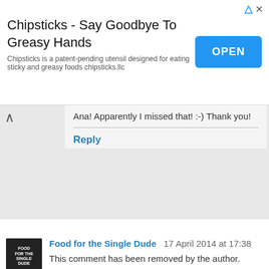[Figure (screenshot): Advertisement banner for Chipsticks product with OPEN button]
Ana! Apparently I missed that! :-) Thank you!
Reply
Food for the Single Dude  17 April 2014 at 17:38
This comment has been removed by the author.
Reply
My Crazy Life  25 May 2014 at 12:48
So I tried the chocolate topping in the microwave and on a double boiler. It turn pasty set up. What did I do wron.
Reply